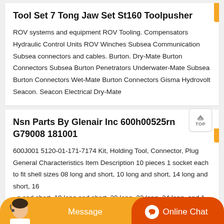Tool Set 7 Tong Jaw Set St160 Toolpusher
ROV systems and equipment ROV Tooling. Compensators Hydraulic Control Units ROV Winches Subsea Communication Subsea connectors and cables. Burton. Dry-Mate Burton Connectors Subsea Burton Penetrators Underwater-Mate Subsea Burton Connectors Wet-Mate Burton Connectors Gisma Hydrovolt Seacon. Seacon Electrical Dry-Mate
Nsn Parts By Glenair Inc 600h00525rn G79008 181001
600J001 5120-01-171-7174 Kit, Holding Tool, Connector, Plug General Characteristics Item Description 10 pieces 1 socket each to fit shell sizes 08 long and short, 10 long and short, 14 long and short, 16 long and short, 18 long and short, 20 long, 22 long, 24 long, and 1